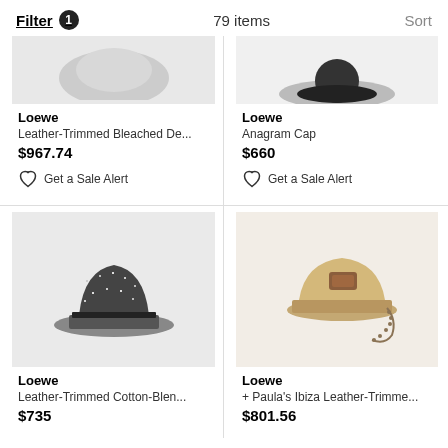Filter 1   79 items   Sort
[Figure (photo): Partial view of a Loewe hat product image (bleached denim), cropped at top]
Loewe
Leather-Trimmed Bleached De...
$967.74
Get a Sale Alert
[Figure (photo): Partial view of a Loewe Anagram Cap, dark brim visible at top right]
Loewe
Anagram Cap
$660
Get a Sale Alert
[Figure (photo): Loewe leather-trimmed cotton-blend bucket hat in black/white tweed pattern]
Loewe
Leather-Trimmed Cotton-Blen...
$735
[Figure (photo): Loewe + Paula's Ibiza leather-trimmed bucket hat in tan/camel with chain strap]
Loewe
+ Paula's Ibiza Leather-Trimme...
$801.56